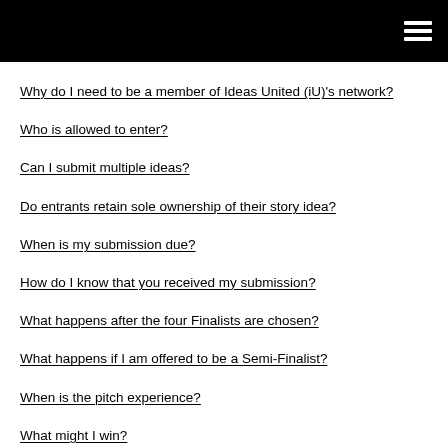Why do I need to be a member of Ideas United (iU)'s network?
Who is allowed to enter?
Can I submit multiple ideas?
Do entrants retain sole ownership of their story idea?
When is my submission due?
How do I know that you received my submission?
What happens after the four Finalists are chosen?
What happens if I am offered to be a Semi-Finalist?
When is the pitch experience?
What might I win?